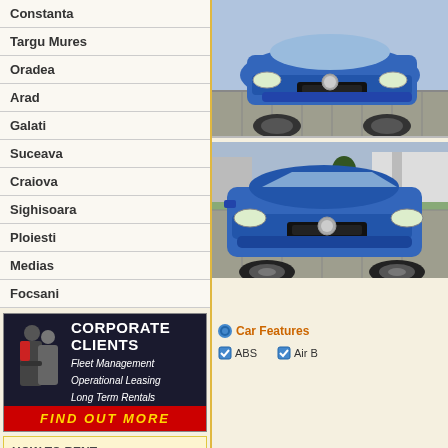Constanta
Targu Mures
Oradea
Arad
Galati
Suceava
Craiova
Sighisoara
Ploiesti
Medias
Focsani
[Figure (photo): Corporate clients banner with two business people and text: Fleet Management, Operational Leasing, Long Term Rentals, FIND OUT MORE]
HOW TO RENT:
Tips for easy car rental Iasi!
We partner with every major car rental company in Romania to help you find the
[Figure (photo): Blue Volkswagen Polo car photographed from front-right angle on brick pavement]
[Figure (photo): Blue Volkswagen Polo car photographed from front-left angle in outdoor setting]
Car Features
ABS
Air B